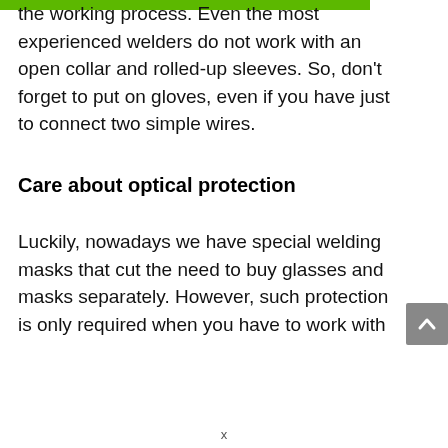the working process. Even the most experienced welders do not work with an open collar and rolled-up sleeves. So, don't forget to put on gloves, even if you have just to connect two simple wires.
Care about optical protection
Luckily, nowadays we have special welding masks that cut the need to buy glasses and masks separately. However, such protection is only required when you have to work with
x